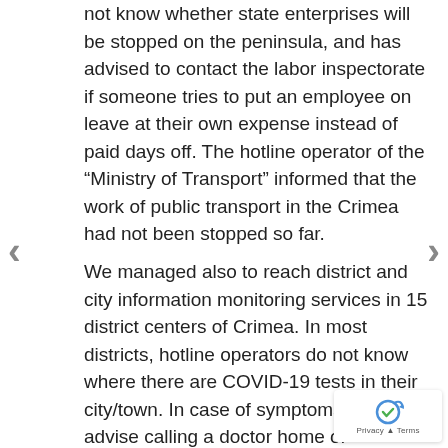not know whether state enterprises will be stopped on the peninsula, and has advised to contact the labor inspectorate if someone tries to put an employee on leave at their own expense instead of paid days off. The hotline operator of the “Ministry of Transport” informed that the work of public transport in the Crimea had not been stopped so far.
We managed also to reach district and city information monitoring services in 15 district centers of Crimea. In most districts, hotline operators do not know where there are COVID-19 tests in their city/town. In case of symptoms, they advise calling a doctor home or recommend going to local hospitals. The information service of the Central District Hospital of Alushta said that tests could not be done at the hospital.
In Sevastopol, the “hot line operator said that the tests COVID-2019 could not be done at the city private cli... though could be done in Simfaropol. At the same time...